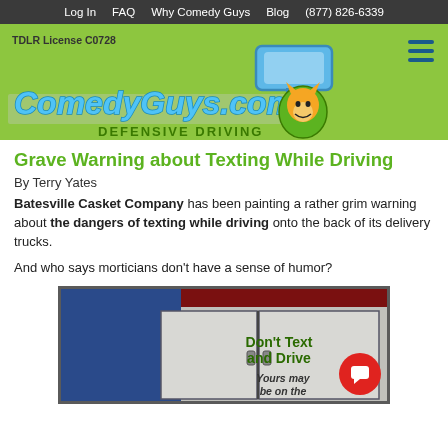Log In  FAQ  Why Comedy Guys  Blog  (877) 826-6339
[Figure (logo): ComedyGuys.com Defensive Driving logo with green background, rearview mirror graphic and cartoon fox character. TDLR License C0728 text.]
Grave Warning about Texting While Driving
By Terry Yates
Batesville Casket Company has been painting a rather grim warning about the dangers of texting while driving onto the back of its delivery trucks.
And who says morticians don't have a sense of humor?
[Figure (photo): Photo of the back of a Batesville Casket Company delivery truck with text reading 'Don't Text and Drive' and 'Yours may be on the' visible. A red chat button overlay appears in the bottom right corner.]